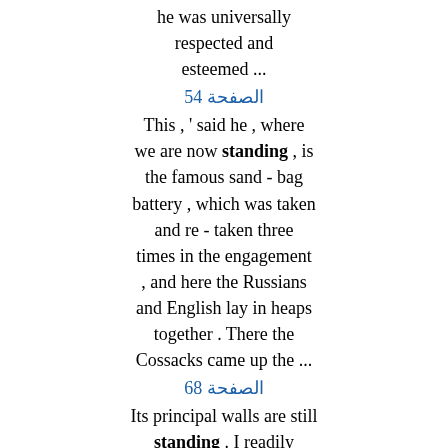he was universally respected and esteemed ...
الصفحة 45
This , ' said he , where we are now standing , is the famous sand - bag battery , which was taken and re - taken three times in the engagement , and here the Russians and English lay in heaps together . There the Cossacks came up the ...
الصفحة 86
Its principal walls are still standing . I readily obtained admission by giving a backshish to the keeper of the keys . The architectural effect of the immense columns , and the twenty - four domes